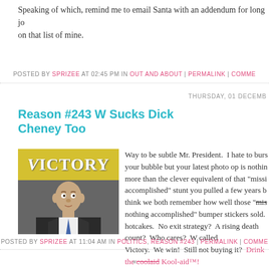Speaking of which, remind me to email Santa with an addendum for long jobs on that list of mine.
POSTED BY SPRIZEE AT 02:45 PM IN OUT AND ABOUT | PERMALINK | COMME...
THURSDAY, 01 DECEMB...
Reason #243 W Sucks Dick Cheney Too
[Figure (photo): Photo of a man in a suit in front of a yellow VICTORY banner]
Way to be subtle Mr. President. I hate to burst your bubble but your latest photo op is nothing more than the clever equivalent of that "mission accomplished" stunt you pulled a few years b... think we both remember how well those "mis... nothing accomplished" bumper stickers sold. hotcakes. No exit strategy? A rising death count? Who cares? W called Victory. We win! Still not buying it? Drink the coolaid Kool-aid™!
POSTED BY SPRIZEE AT 11:04 AM IN POLITICS, REASON #243 | PERMALINK | COMME...